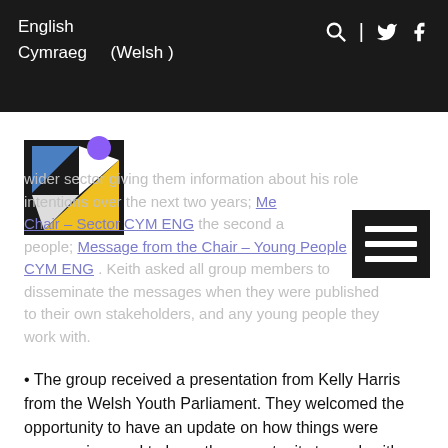English
Cymraeg    (Welsh )
[Figure (logo): Youth Work logo — geometric triangles and shapes in blue, yellow, white on black background, with purple circle accent]
wider sector giving them information about his role intentions over the next two years; Me Chair – Sector CYM ENG the second a people; Message from the Chair – Young People CYM ENG . Keith asked all group members to disseminate the messages when they were published to their own stakeholders, and any young people they work with.
The group received a presentation from Kelly Harris from the Welsh Youth Parliament. They welcomed the opportunity to have an update on how things were progressing, and to have the opportunity to work with Kelly and her colleagues going forward as the Parliament develops, and to further explore how this can help to shape the development of the Youth Work